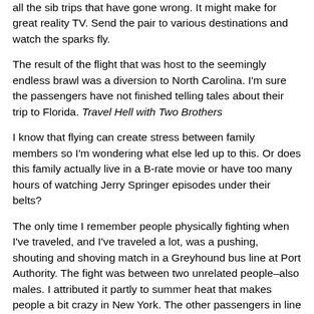all the sib trips that have gone wrong. It might make for great reality TV. Send the pair to various destinations and watch the sparks fly.
The result of the flight that was host to the seemingly endless brawl was a diversion to North Carolina. I'm sure the passengers have not finished telling tales about their trip to Florida. Travel Hell with Two Brothers
I know that flying can create stress between family members so I'm wondering what else led up to this. Or does this family actually live in a B-rate movie or have too many hours of watching Jerry Springer episodes under their belts?
The only time I remember people physically fighting when I've traveled, and I've traveled a lot, was a pushing, shouting and shoving match in a Greyhound bus line at Port Authority. The fight was between two unrelated people–also males. I attributed it partly to summer heat that makes people a bit crazy in New York. The other passengers in line stopped the